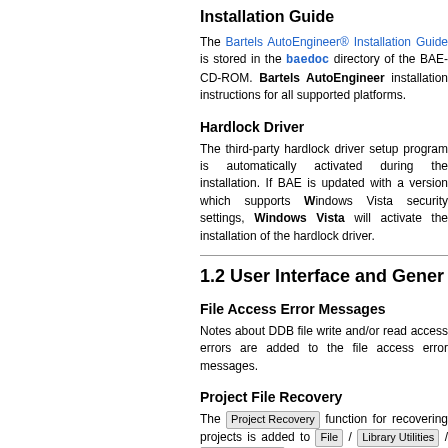Installation Guide
The Bartels AutoEngineer® Installation Guide is stored in the baedoc directory of the BAE-CD-ROM. Bartels AutoEngineer installation instructions for all supported platforms.
Hardlock Driver
The third-party hardlock driver setup program is automatically activated during the installation. If BAE is updated with a version which supports Windows Vista security settings, Windows Vista will activate the installation of the hardlock driver.
1.2 User Interface and General Functions
File Access Error Messages
Notes about DDB file write and/or read access errors are added to the file access error messages.
Project File Recovery
The Project Recovery function for recovering projects is added to File / Library Utilities / Copy Elements and the COPYDDB utility program, Project Recovery